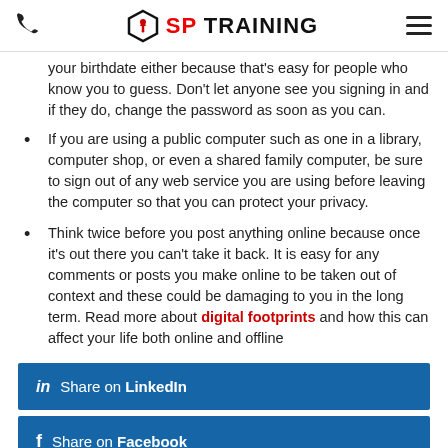SP TRAINING
your birthdate either because that's easy for people who know you to guess. Don't let anyone see you signing in and if they do, change the password as soon as you can.
If you are using a public computer such as one in a library, computer shop, or even a shared family computer, be sure to sign out of any web service you are using before leaving the computer so that you can protect your privacy.
Think twice before you post anything online because once it's out there you can't take it back. It is easy for any comments or posts you make online to be taken out of context and these could be damaging to you in the long term. Read more about digital footprints and how this can affect your life both online and offline
Share on LinkedIn
Share on Facebook